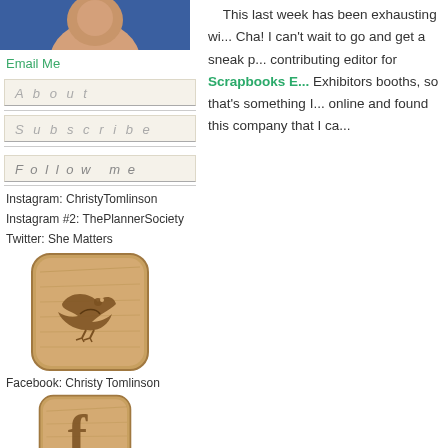[Figure (photo): Partial profile photo of a person against a blue background]
Email Me
About
Subscribe
Follow me
Instagram: ChristyTomlinson
Instagram #2: ThePlannerSociety
Twitter: She Matters
[Figure (illustration): Wooden Twitter bird icon with rounded square shape and woodgrain texture]
Facebook: Christy Tomlinson
[Figure (illustration): Wooden Facebook 'f' icon with rounded square shape and woodgrain texture, partially visible]
This last week has been exhausting wi... Cha! I can't wait to go and get a sneak p... contributing editor for Scrapbooks E... Exhibitors booths, so that's something I... online and found this company that I ca...